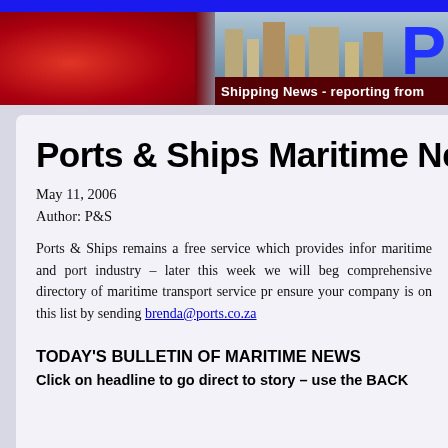Shipping News - reporting from
Ports & Ships Maritime Ne
May 11, 2006
Author: P&S
Ports & Ships remains a free service which provides infor maritime and port industry – later this week we will beg comprehensive directory of maritime transport service pr ensure your company is on this list by sending brenda@ports.co.za
TODAY'S BULLETIN OF MARITIME NEWS
Click on headline to go direct to story – use the BACK